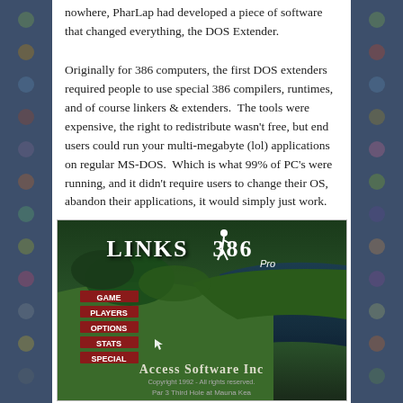nowhere, PharLap had developed a piece of software that changed everything, the DOS Extender.
Originally for 386 computers, the first DOS extenders required people to use special 386 compilers, runtimes, and of course linkers & extenders.  The tools were expensive, the right to redistribute wasn't free, but end users could run your multi-megabyte (lol) applications on regular MS-DOS.  Which is what 99% of PC's were running, and it didn't require users to change their OS, abandon their applications, it would simply just work.
[Figure (screenshot): Screenshot of Links 386 Pro game by Access Software Inc., showing the game menu with options: Game, Players, Options, Stats, Special. Background shows a golf course aerial view. Text at bottom reads 'Access Software Inc. Copyright 1992 - All rights reserved. Par 3 Third Hole at Mauna Kea']